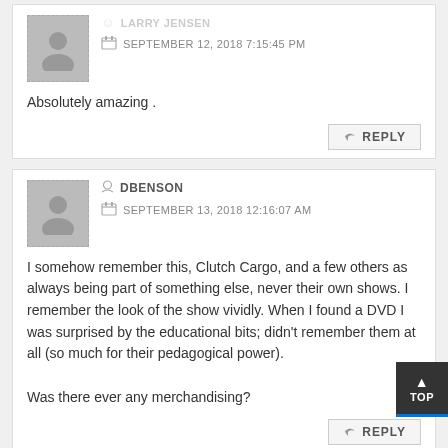LARRY JENSEN
SEPTEMBER 12, 2018 7:15:45 PM
Absolutely amazing .
REPLY
DBENSON
SEPTEMBER 13, 2018 12:16:07 AM
I somehow remember this, Clutch Cargo, and a few others as always being part of something else, never their own shows. I remember the look of the show vividly. When I found a DVD I was surprised by the educational bits; didn't remember them at all (so much for their pedagogical power).

Was there ever any merchandising?
REPLY